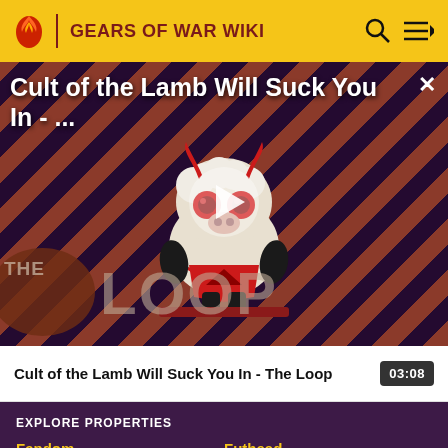GEARS OF WAR WIKI
[Figure (screenshot): Video thumbnail showing 'Cult of the Lamb Will Suck You In - The Loop' with animated lamb character on striped red/dark background, The Loop branding visible, play button overlay, close button (×) in top-right]
Cult of the Lamb Will Suck You In - The Loop   03:08
EXPLORE PROPERTIES
Fandom   Futhead